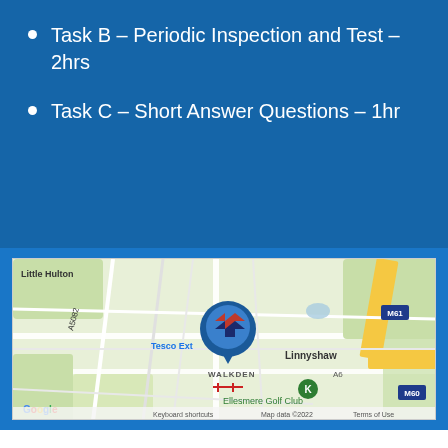Task B – Periodic Inspection and Test – 2hrs
Task C – Short Answer Questions – 1hr
[Figure (map): Google Map showing Walkden area near Little Hulton, with a branded location pin over Tesco Extra in Walkden. Nearby landmarks include Linnyshaw, Ellesmere Golf Club, A5082, A6, M61, and M60 motorways. Map data ©2022.]